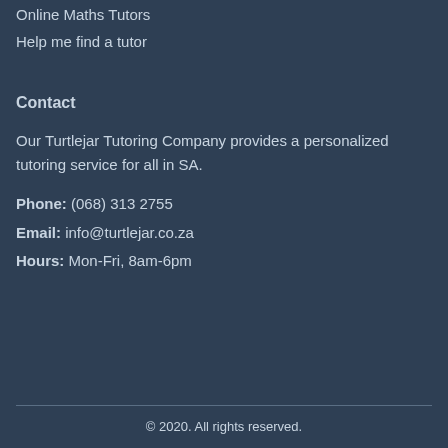Online Maths Tutors
Help me find a tutor
Contact
Our Turtlejar Tutoring Company provides a personalized tutoring service for all in SA.
Phone: (068) 313 2755
Email: info@turtlejar.co.za
Hours: Mon-Fri, 8am-6pm
© 2020. All rights reserved.